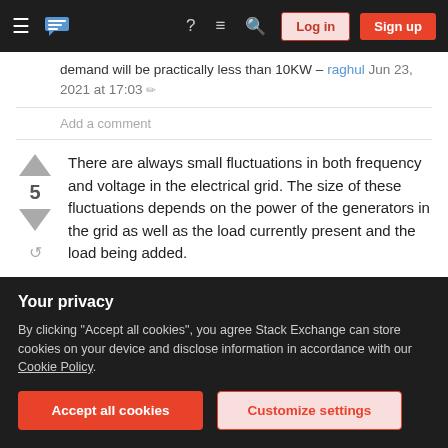Stack Exchange navigation bar with hamburger menu, logo, help, chat, search icons, Log in and Sign up buttons
demand will be practically less than 10KW – raghul Jun 23, 2021 at 17:03
Add a comment
There are always small fluctuations in both frequency and voltage in the electrical grid. The size of these fluctuations depends on the power of the generators in the grid as well as the load currently present and the load being added.
Under normal circumstances 5 MW is not a big load
Your privacy
By clicking "Accept all cookies", you agree Stack Exchange can store cookies on your device and disclose information in accordance with our Cookie Policy.
Accept all cookies
Customize settings
Europe with a generation capacity of more than